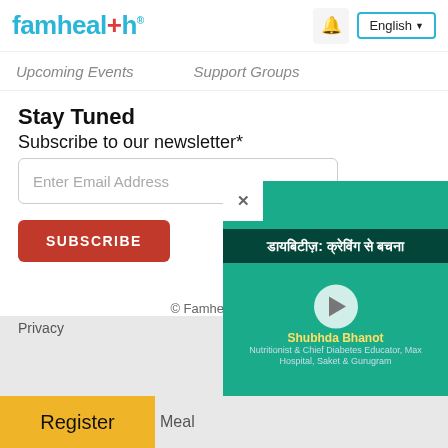famhealth | English
Upcoming Events    Support Groups
Stay Tuned
Subscribe to our newsletter*
Enter Email Address
SUBSCRIBE
© Famhealth 2021
Privacy
[Figure (screenshot): Video overlay showing a health video titled 'डायबिटीज़: क्रेविंग से बचना' (Diabetes: Avoid Cravings) with presenter Shubhda Bhanot, Nutritionist & Chief Diabetes Educator, Max Hospital, Saket & Gurugram, on a teal medical-icons background]
Register
Meal